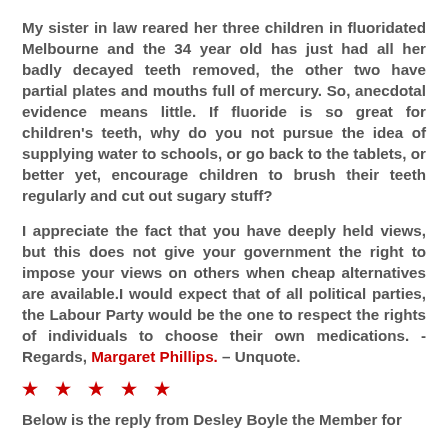My sister in law reared her three children in fluoridated Melbourne and the 34 year old has just had all her badly decayed teeth removed, the other two have partial plates and mouths full of mercury. So, anecdotal evidence means little. If fluoride is so great for children's teeth, why do you not pursue the idea of supplying water to schools, or go back to the tablets, or better yet, encourage children to brush their teeth regularly and cut out sugary stuff?
I appreciate the fact that you have deeply held views, but this does not give your government the right to impose your views on others when cheap alternatives are available.I would expect that of all political parties, the Labour Party would be the one to respect the rights of individuals to choose their own medications. - Regards, Margaret Phillips. – Unquote.
* * * * *
Below is the reply from Desley Boyle the Member for